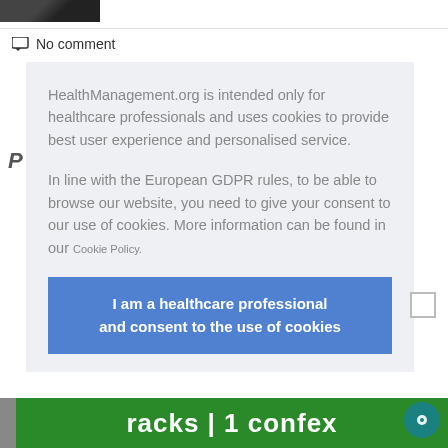[Figure (photo): Small black and white portrait photo in top left corner]
No comment
HealthManagement.org is intended only for healthcare professionals and uses cookies to provide best user experience and personalised service.
In line with the European GDPR rules, to be able to browse our website, you need to give your consent to our use of cookies. More information can be found in our Cookie Policy.
I am a healthcare professional and consent to the use of cookies
[Figure (screenshot): Bottom banner showing partial text 'tracks | 1 confex' in white on green background]